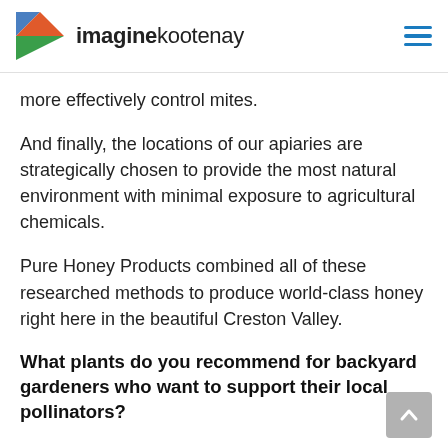imaginekootenay
more effectively control mites.
And finally, the locations of our apiaries are strategically chosen to provide the most natural environment with minimal exposure to agricultural chemicals.
Pure Honey Products combined all of these researched methods to produce world-class honey right here in the beautiful Creston Valley.
What plants do you recommend for backyard gardeners who want to support their local pollinators?